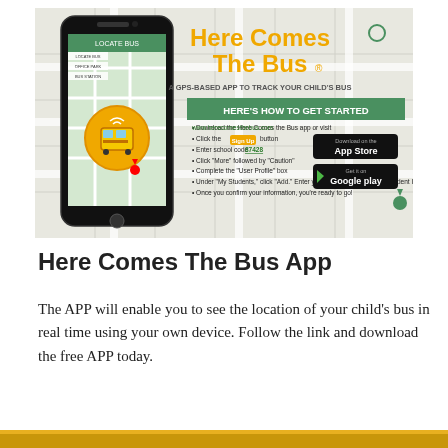[Figure (infographic): Here Comes The Bus app promotional infographic showing a smartphone with GPS map and bus tracking app, orange title text 'Here Comes The Bus', subtitle 'A GPS-BASED APP TO TRACK YOUR CHILD'S BUS', green header 'HERE'S HOW TO GET STARTED', bullet instructions including school code 87428, App Store and Google Play download buttons.]
Here Comes The Bus App
The APP will enable you to see the location of your child's bus in real time using your own device. Follow the link and download the free APP today.